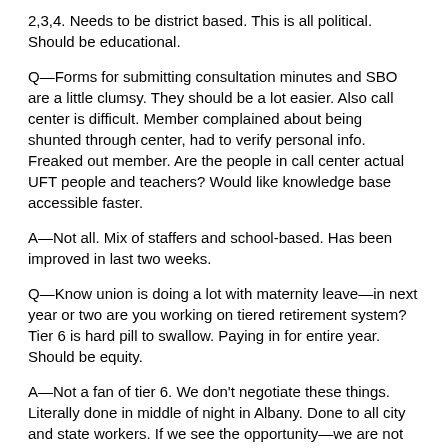2,3,4. Needs to be district based. This is all political. Should be educational.
Q—Forms for submitting consultation minutes and SBO are a little clumsy. They should be a lot easier. Also call center is difficult. Member complained about being shunted through center, had to verify personal info. Freaked out member. Are the people in call center actual UFT people and teachers? Would like knowledge base accessible faster.
A—Not all. Mix of staffers and school-based. Has been improved in last two weeks.
Q—Know union is doing a lot with maternity leave—in next year or two are you working on tiered retirement system? Tier 6 is hard pill to swallow. Paying in for entire year. Should be equity.
A—Not a fan of tier 6. We don't negotiate these things. Literally done in middle of night in Albany. Done to all city and state workers. If we see the opportunity—we are not allowed to negotiate pension benefits—has to go to legislature then governor. Municipalities need to